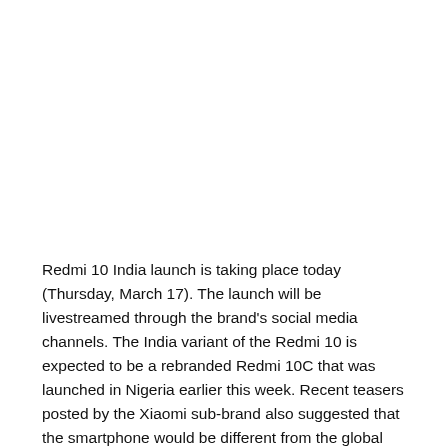Redmi 10 India launch is taking place today (Thursday, March 17). The launch will be livestreamed through the brand's social media channels. The India variant of the Redmi 10 is expected to be a rebranded Redmi 10C that was launched in Nigeria earlier this week. Recent teasers posted by the Xiaomi sub-brand also suggested that the smartphone would be different from the global Redmi 10 model. It is teased to come with dual rear cameras, Snapdragon SoC, and a waterdrop-style display notch. Read on to know Redmi 10 India launch details, expected price, and specifications.